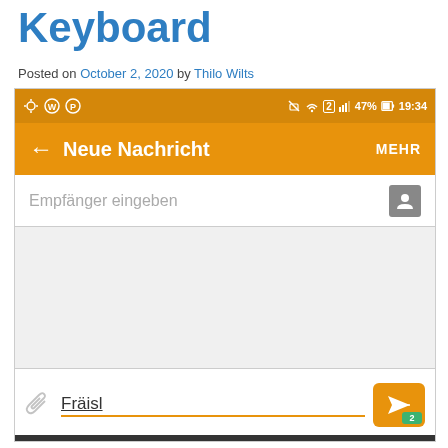Keyboard
Posted on October 2, 2020 by Thilo Wilts
[Figure (screenshot): Android SMS app screenshot showing 'Neue Nachricht' (New Message) compose screen with status bar at top, 'Empfänger eingeben' (Enter recipient) placeholder, empty message body area, and text input at bottom showing 'Fräisl' with attachment icon and send button with badge '2']